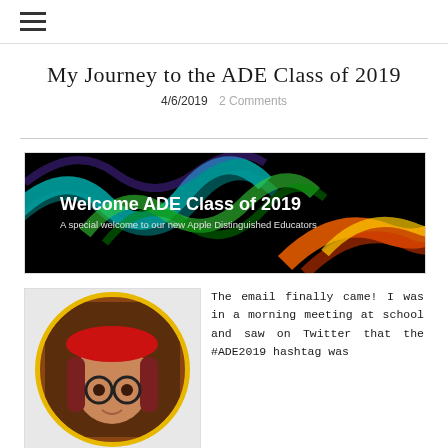≡
My Journey to the ADE Class of 2019
4/6/2019  2 Comments
[Figure (photo): Welcome ADE Class of 2019 banner image with colorful light streaks on black background. Text reads: Welcome ADE Class of 2019 / A special welcome to our new Apple Distinguished Educators]
[Figure (photo): Profile photo of a woman with red hair and round glasses wearing a red hat, in a circular frame with yellow border]
The email finally came! I was in a morning meeting at school and saw on Twitter that the #ADE2019 hashtag was